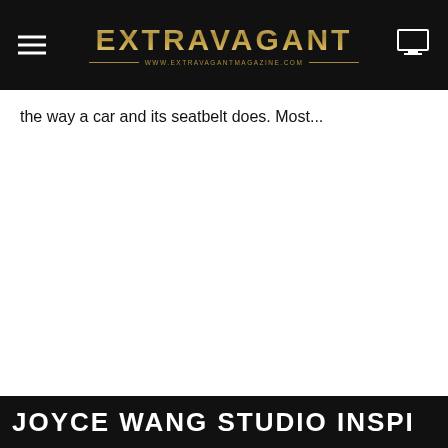EXTRAVAGANT — WWW.EXTRAVAGANTMAGAZINE.COM
the way a car and its seatbelt does. Most...
JOYCE WANG STUDIO INSPI